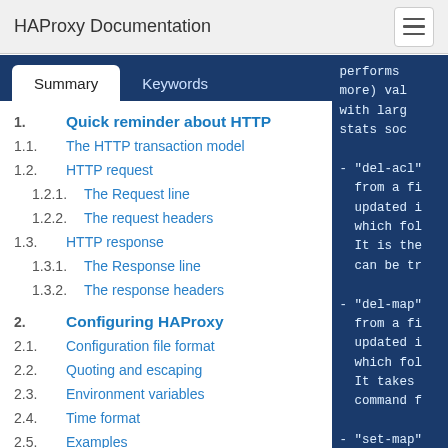HAProxy Documentation
Summary | Keywords
1. Quick reminder about HTTP
1.1. The HTTP transaction model
1.2. HTTP request
1.2.1. The Request line
1.2.2. The request headers
1.3. HTTP response
1.3.1. The Response line
1.3.2. The response headers
2. Configuring HAProxy
2.1. Configuration file format
2.2. Quoting and escaping
2.3. Environment variables
2.4. Time format
2.5. Examples
3. Global parameters
performs
more) val
with larg
stats soc

- "del-acl"
from a fi
updated i
which fol
It is the
can be tr

- "del-map"
from a fi
updated i
which fol
It takes
command f

- "set-map"
from a fi